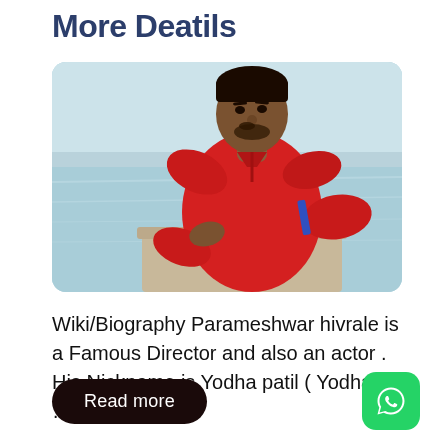More Deatils
[Figure (photo): Young man in red long-sleeve shirt leaning on a railing near a waterfront, looking to the side.]
Wiki/Biography Parameshwar hivrale is a Famous Director and also an actor . His Nickname is Yodha patil ( Yodha) . …
Read more